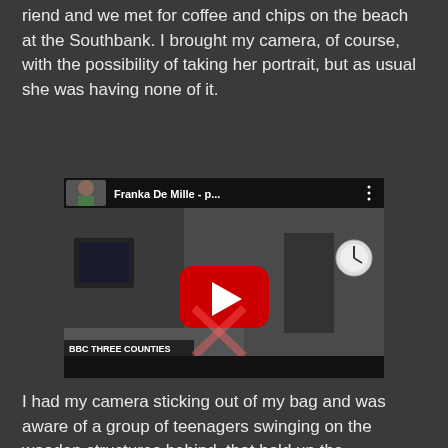riend and we met for coffee and chips on the beach at the Southbank. I brought my camera, of course, with the possibility of taking her portrait, but as usual she was having none of it.
[Figure (screenshot): YouTube video thumbnail showing 'Franka De Mille - p...' with a BBC Three Counties watermark. A woman is visible in what appears to be a radio studio. A red YouTube play button is centered on the video.]
I had my camera sticking out of my bag and was aware of a group of teenagers swinging on the wooden structures behind, that hold up the Southbank.  A woman who was with them approached me and asked if I would take their portrait. I agreed, stood up and turned around to be met with a group of five severely burnt African teenagers all looking at me